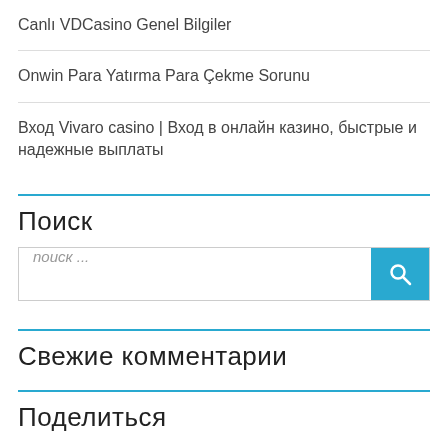Canlı VDCasino Genel Bilgiler
Onwin Para Yatırma Para Çekme Sorunu
Вход Vivaro casino | Вход в онлайн казино, быстрые и надежные выплаты
Поиск
поиск ...
Свежие комментарии
Поделиться